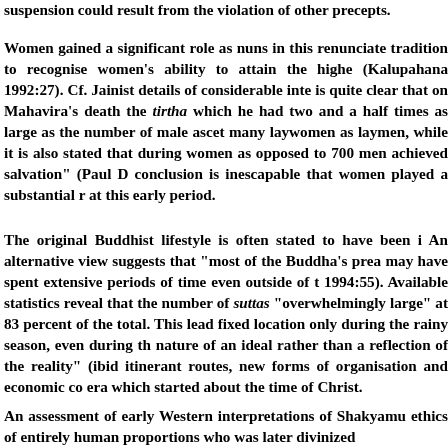suspension could result from the violation of other precepts.
Women gained a significant role as nuns in this renunciate tradition to recognise women's ability to attain the highe (Kalupahana 1992:27). Cf. Jainist details of considerable inte is quite clear that on Mahavira's death the tirtha which he had two and a half times as large as the number of male ascet many laywomen as laymen, while it is also stated that during women as opposed to 700 men achieved salvation" (Paul D conclusion is inescapable that women played a substantial r at this early period.
The original Buddhist lifestyle is often stated to have been i An alternative view suggests that "most of the Buddha's prea may have spent extensive periods of time even outside of t 1994:55). Available statistics reveal that the number of suttas "overwhelmingly large" at 83 percent of the total. This lead fixed location only during the rainy season, even during th nature of an ideal rather than a reflection of the reality" (ibid itinerant routes, new forms of organisation and economic co era which started about the time of Christ.
An assessment of early Western interpretations of Shakyamu ethics of entirely human proportions who was later divinized